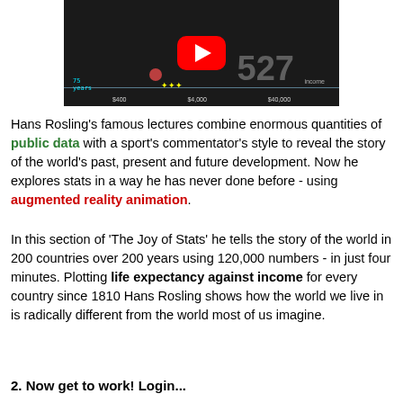[Figure (screenshot): YouTube video thumbnail showing Hans Rosling's augmented reality animation with a dark background, large red YouTube play button, bubble chart overlay with income on x-axis, and the number 527 visible]
Hans Rosling's famous lectures combine enormous quantities of public data with a sport's commentator's style to reveal the story of the world's past, present and future development. Now he explores stats in a way he has never done before - using augmented reality animation.
In this section of 'The Joy of Stats' he tells the story of the world in 200 countries over 200 years using 120,000 numbers - in just four minutes. Plotting life expectancy against income for every country since 1810 Hans Rosling shows how the world we live in is radically different from the world most of us imagine.
2. Now get to work! Login...